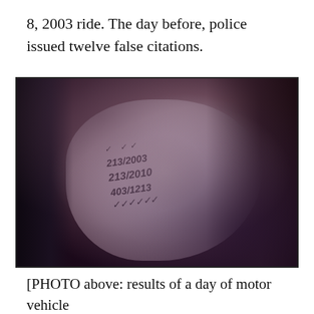8, 2003 ride. The day before, police issued twelve false citations.
[Figure (photo): Close-up photograph of a person's face tilted sideways with writing/citations written on their skin, with dark dreadlocks visible on the right side and a chain/piercing on the left.]
[PHOTO above: results of a day of motor vehicle